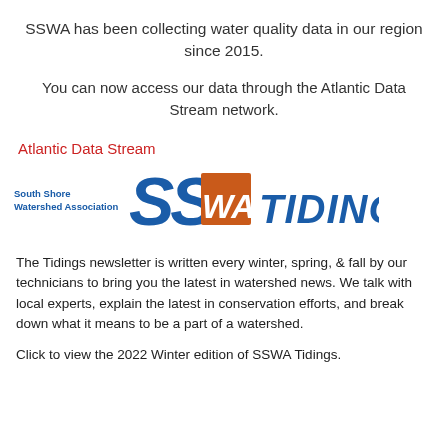SSWA has been collecting water quality data in our region since 2015.
You can now access our data through the Atlantic Data Stream network.
Atlantic Data Stream
[Figure (logo): South Shore Watershed Association SSWA TIDINGS logo with stylized SS letters and orange WA box]
The Tidings newsletter is written every winter, spring, & fall by our technicians to bring you the latest in watershed news. We talk with local experts, explain the latest in conservation efforts, and break down what it means to be a part of a watershed.
Click to view the 2022 Winter edition of SSWA Tidings.